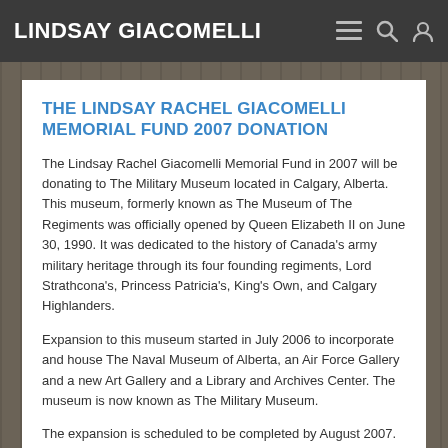LINDSAY GIACOMELLI
THE LINDSAY RACHEL GIACOMELLI MEMORIAL FUND 2007 DONATION
The Lindsay Rachel Giacomelli Memorial Fund in 2007 will be donating to The Military Museum located in Calgary, Alberta. This museum, formerly known as The Museum of The Regiments was officially opened by Queen Elizabeth II on June 30, 1990. It was dedicated to the history of Canada's army military heritage through its four founding regiments, Lord Strathcona's, Princess Patricia's, King's Own, and Calgary Highlanders.
Expansion to this museum started in July 2006 to incorporate and house The Naval Museum of Alberta, an Air Force Gallery and a new Art Gallery and a Library and Archives Center. The museum is now known as The Military Museum.
The expansion is scheduled to be completed by August 2007. The building will be expanded from it's current size of 55,000 sq...